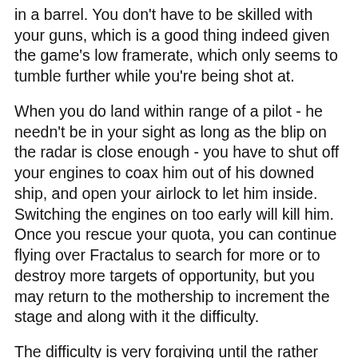in a barrel. You don't have to be skilled with your guns, which is a good thing indeed given the game's low framerate, which only seems to tumble further while you're being shot at.
When you do land within range of a pilot - he needn't be in your sight as long as the blip on the radar is close enough - you have to shut off your engines to coax him out of his downed ship, and open your airlock to let him inside. Switching the engines on too early will kill him. Once you rescue your quota, you can continue flying over Fractalus to search for more or to destroy more targets of opportunity, but you may return to the mothership to increment the stage and along with it the difficulty.
The difficulty is very forgiving until the rather late stages - I started at level 4, and made it to level 22 on my first try, having played for a good two hours, and not had any close calls. A few new challenges get added gradually - flying UFOs are added into the mix, which kamikaze your ship for much more damage than the stationary guns do, the guns become more densely concentrated, fire more frequently and accurately, sometimes landing damaging critical hits, and your rescue quotas increase. By level 16, Fractalus starts